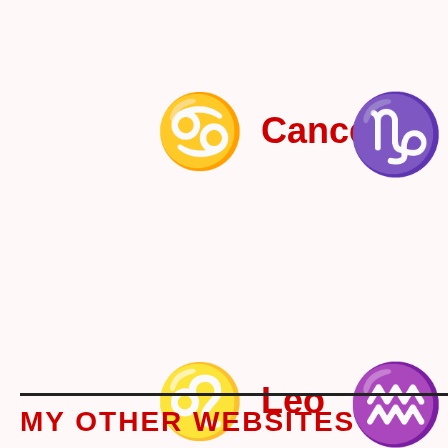[Figure (illustration): Zodiac symbol for Cancer (♋) with label 'Cancer' in red]
Cancer
[Figure (illustration): Zodiac symbol for Capricorn (♑) partially visible on right side]
[Figure (illustration): Zodiac symbol for Leo (♌) with label 'Leo' in red]
Leo
[Figure (illustration): Zodiac symbol for Aquarius (♒) partially visible on right side]
A
[Figure (illustration): Zodiac symbol for Virgo (♍) with label 'Virgo' in red]
Virgo
[Figure (illustration): Zodiac symbol for Pisces (♓) partially visible on right side]
P
MY OTHER WEBSITES